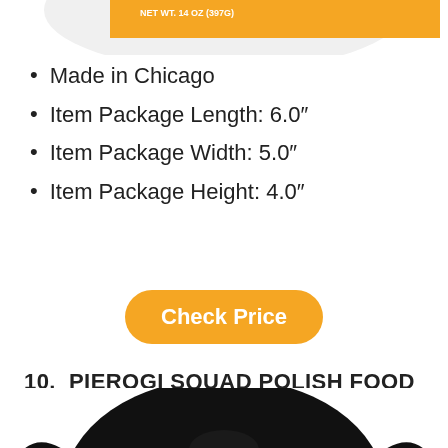[Figure (photo): Top portion of a product label with yellow/orange background showing text about weight and storage instructions]
Made in Chicago
Item Package Length: 6.0″
Item Package Width: 5.0″
Item Package Height: 4.0″
Check Price
10.  PIEROGI SQUAD POLISH FOOD POLAND FUNNY T-SHIRT
[Figure (photo): Black t-shirt with a cartoon pierogi character graphic on the front, shown from the upper torso area]